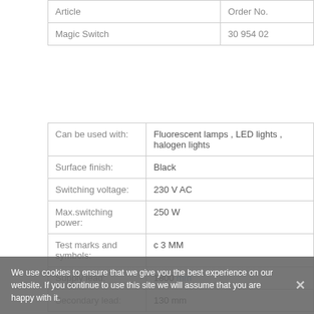| Article | Order No. |
| --- | --- |
| Magic Switch | 30 954 02 |
|  |  |
| --- | --- |
| Can be used with: | Fluorescent lamps , LED lights , halogen lights |
| Surface finish: | Black |
| Switching voltage: | 230 V AC |
| Max.switching power: | 250 W |
| Test marks and symbols: | c 3 MM |
| Supply lead: | 1800 mm |
| Secondary lead: | 130 mm |
We use cookies to ensure that we give you the best experience on our website. If you continue to use this site we will assume that you are happy with it.